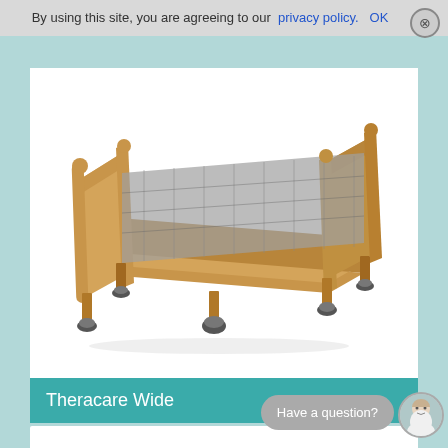By using this site, you are agreeing to our privacy policy.  OK
[Figure (photo): Theracare Wide hospital/care bed with wooden headboard and footboard panels, metal frame with slatted base, and four swivel casters. The bed is shown at an angle, no mattress, in beech/light wood finish.]
Theracare Wide
Have a question?